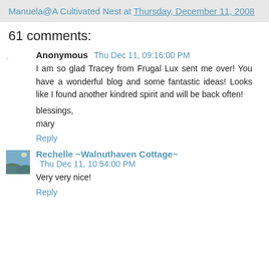Manuela@A Cultivated Nest at Thursday, December 11, 2008
61 comments:
Anonymous  Thu Dec 11, 09:16:00 PM
I am so glad Tracey from Frugal Lux sent me over! You have a wonderful blog and some fantastic ideas! Looks like I found another kindred spirit and will be back often!

blessings,
mary
Reply
Rechelle ~Walnuthaven Cottage~  Thu Dec 11, 10:54:00 PM
Very very nice!
Reply